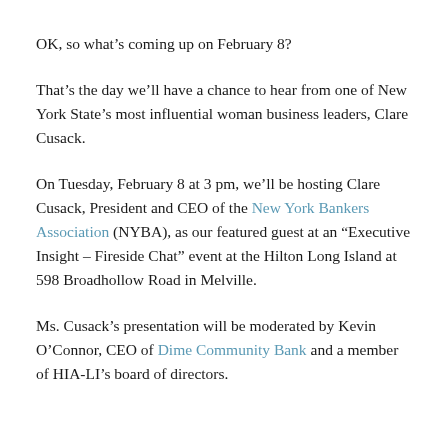OK, so what’s coming up on February 8?
That’s the day we’ll have a chance to hear from one of New York State’s most influential woman business leaders, Clare Cusack.
On Tuesday, February 8 at 3 pm, we’ll be hosting Clare Cusack, President and CEO of the New York Bankers Association (NYBA), as our featured guest at an “Executive Insight – Fireside Chat” event at the Hilton Long Island at 598 Broadhollow Road in Melville.
Ms. Cusack’s presentation will be moderated by Kevin O’Connor, CEO of Dime Community Bank and a member of HIA-LI’s board of directors.